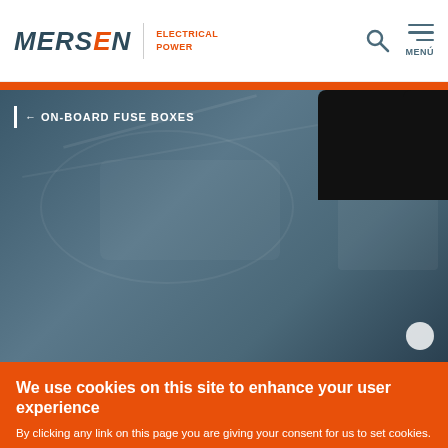MERSEN | ELECTRICAL POWER
[Figure (photo): Hero image showing interior of a vehicle or industrial equipment with a dark on-board fuse box component visible against a blue-grey toned background]
← ON-BOARD FUSE BOXES
We use cookies on this site to enhance your user experience
By clicking any link on this page you are giving your consent for us to set cookies.
Más info →